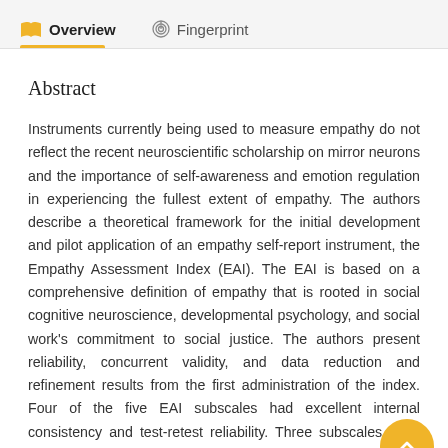Overview   Fingerprint
Abstract
Instruments currently being used to measure empathy do not reflect the recent neuroscientific scholarship on mirror neurons and the importance of self-awareness and emotion regulation in experiencing the fullest extent of empathy. The authors describe a theoretical framework for the initial development and pilot application of an empathy self-report instrument, the Empathy Assessment Index (EAI). The EAI is based on a comprehensive definition of empathy that is rooted in social cognitive neuroscience, developmental psychology, and social work's commitment to social justice. The authors present reliability, concurrent validity, and data reduction and refinement results from the first administration of the index. Four of the five EAI subscales had excellent internal consistency and test-retest reliability. Three subscales were tested for concurrent validity.